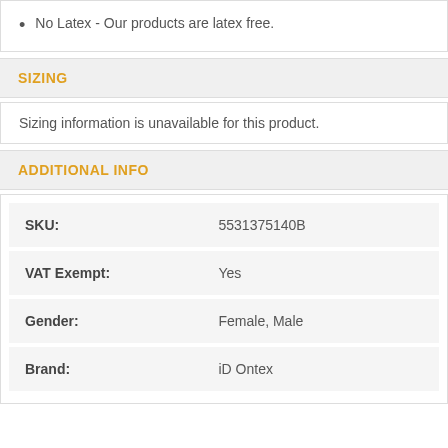No Latex - Our products are latex free.
SIZING
Sizing information is unavailable for this product.
ADDITIONAL INFO
| Field | Value |
| --- | --- |
| SKU: | 5531375140B |
| VAT Exempt: | Yes |
| Gender: | Female, Male |
| Brand: | iD Ontex |